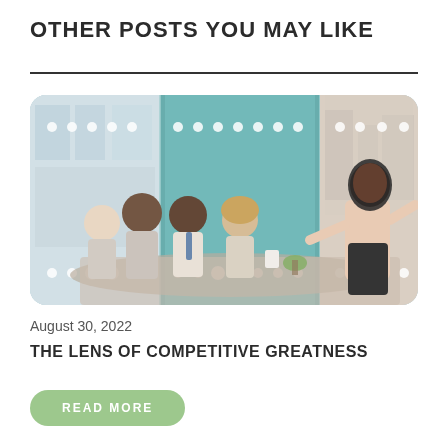OTHER POSTS YOU MAY LIKE
[Figure (photo): Business meeting photo: several people seated at a table listening to a woman presenting/standing, in a modern office with teal accent wall and large windows]
August 30, 2022
THE LENS OF COMPETITIVE GREATNESS
READ MORE